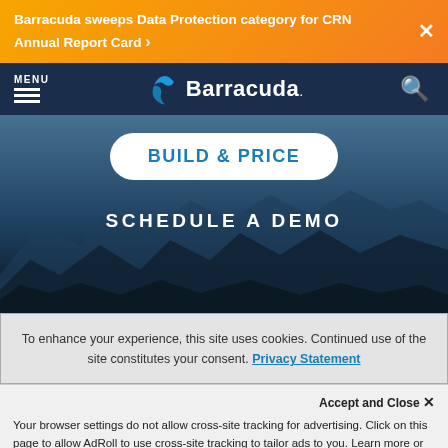Barracuda sweeps Data Protection category for CRN Annual Report Card ›
[Figure (screenshot): Barracuda Networks website navigation bar with logo, menu, and search icon on dark navy background]
BUILD & PRICE
SCHEDULE A DEMO
To enhance your experience, this site uses cookies. Continued use of the site constitutes your consent. Privacy Statement
Accept and Close ✕
Your browser settings do not allow cross-site tracking for advertising. Click on this page to allow AdRoll to use cross-site tracking to tailor ads to you. Learn more or opt out of this AdRoll tracking by clicking here. This message only appears once.